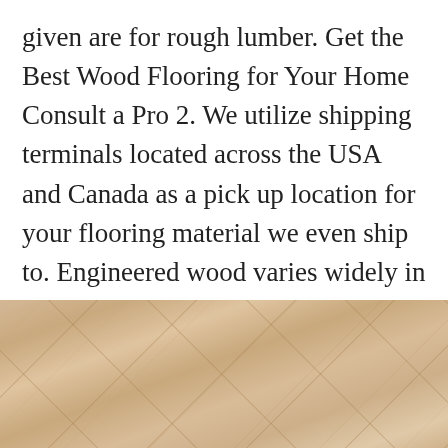given are for rough lumber. Get the Best Wood Flooring for Your Home Consult a Pro 2. We utilize shipping terminals located across the USA and Canada as a pick up location for your flooring material we even ship to. Engineered wood varies widely in price depending on the thickness of the top veneer and how many layers of plywood are under it.
[Figure (photo): Close-up photograph of light-colored wood flooring planks arranged in a herringbone or diagonal pattern, showing natural wood grain texture in beige/tan tones.]